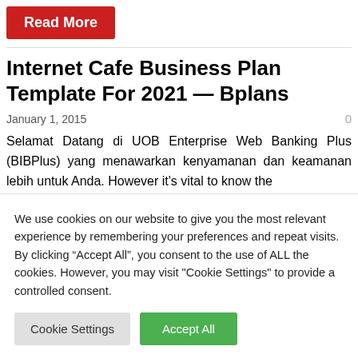Read More
Internet Cafe Business Plan Template For 2021 — Bplans
January 1, 2015
Selamat Datang di UOB Enterprise Web Banking Plus (BIBPlus) yang menawarkan kenyamanan dan keamanan lebih untuk Anda. However it's vital to know the
We use cookies on our website to give you the most relevant experience by remembering your preferences and repeat visits. By clicking “Accept All”, you consent to the use of ALL the cookies. However, you may visit "Cookie Settings" to provide a controlled consent.